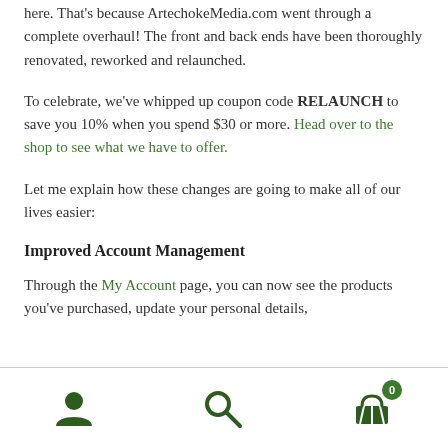here. That's because ArtechokeMedia.com went through a complete overhaul! The front and back ends have been thoroughly renovated, reworked and relaunched.
To celebrate, we've whipped up coupon code RELAUNCH to save you 10% when you spend $30 or more. Head over to the shop to see what we have to offer.
Let me explain how these changes are going to make all of our lives easier:
Improved Account Management
Through the My Account page, you can now see the products you've purchased, update your personal details,
Icons: user, search, cart (0)